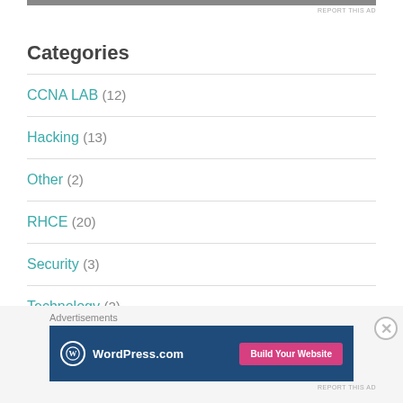REPORT THIS AD
Categories
CCNA LAB (12)
Hacking (13)
Other (2)
RHCE (20)
Security (3)
Technology (2)
Advertisements
[Figure (screenshot): WordPress.com advertisement banner with logo and 'Build Your Website' pink button on dark blue background]
REPORT THIS AD